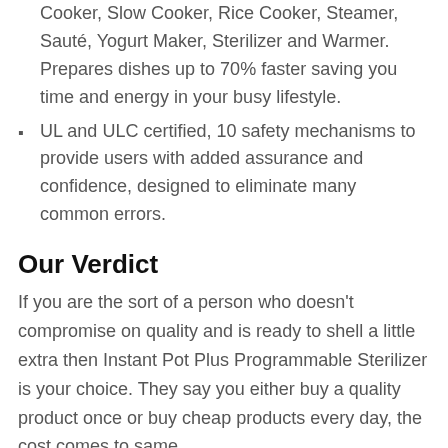quart, combines 9 kitchen appliances in 1; Pressure Cooker, Slow Cooker, Rice Cooker, Steamer, Sauté, Yogurt Maker, Sterilizer and Warmer. Prepares dishes up to 70% faster saving you time and energy in your busy lifestyle.
UL and ULC certified, 10 safety mechanisms to provide users with added assurance and confidence, designed to eliminate many common errors.
Our Verdict
If you are the sort of a person who doesn't compromise on quality and is ready to shell a little extra then Instant Pot Plus Programmable Sterilizer is your choice. They say you either buy a quality product once or buy cheap products every day, the cost comes to same.
The new Instant Pot Plus Programmable Sterilizer comes